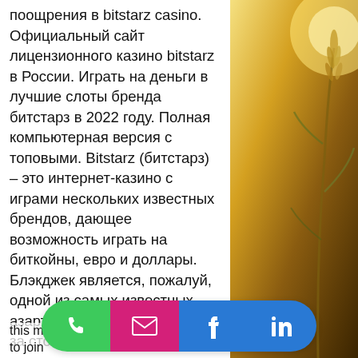поощрения в bitstarz casino. Официальный сайт лицензионного казино bitstarz в России. Играть на деньги в лучшие слоты бренда битстарз в 2022 году. Полная компьютерная версия с топовыми. Bitstarz (битстарз) – это интернет-казино с играми нескольких известных брендов, дающее возможность играть на биткойны, евро и доллары. Блэкджек является, пожалуй, одной из самых известных азартных игр. Одновременно за столом могут сидеть несколько игроков, но все сводится к дуэли игрока и. Подобрать рабочее зеркало bitstarz casino на сегодня портал «битстарз». И лучший способ попасть на сайт казино bitstarz – зеркало. It's never a dull moment for real punters who try online gambling with bitstarz casino. Experience this means is that when a user comes to join
[Figure (other): Social media share bar with phone (green), email (pink/magenta), Facebook (blue), LinkedIn (blue) buttons in a pill-shaped bar]